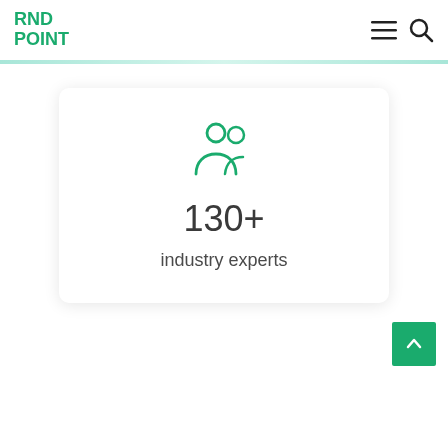RND POINT
[Figure (infographic): Card with people/group icon, number 130+ and text 'industry experts']
130+
industry experts